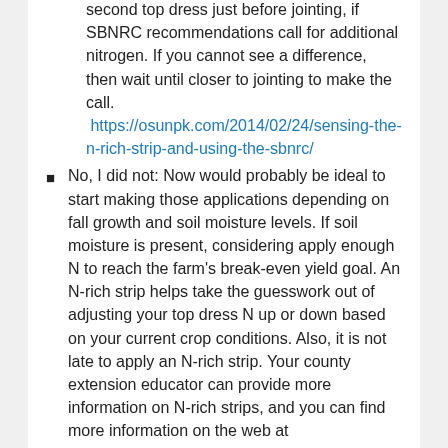second top dress just before jointing, if SBNRC recommendations call for additional nitrogen. If you cannot see a difference, then wait until closer to jointing to make the call. https://osunpk.com/2014/02/24/sensing-the-n-rich-strip-and-using-the-sbnrc/
No, I did not: Now would probably be ideal to start making those applications depending on fall growth and soil moisture levels. If soil moisture is present, considering apply enough N to reach the farm's break-even yield goal. An N-rich strip helps take the guesswork out of adjusting your top dress N up or down based on your current crop conditions. Also, it is not late to apply an N-rich strip. Your county extension educator can provide more information on N-rich strips, and you can find more information on the web at npk.okstate.edu
Do not apply nitrogen to frozen ground. Nitrogen will move with water. If melting snow or frozen rain moves to the ditch, so will nitrogen applied to the